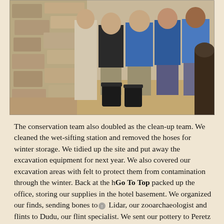[Figure (photo): A group of people standing at an archaeological excavation site near a stone wall. Several people are wearing blue shirts. Black buckets are visible on the ground.]
The conservation team also doubled as the clean-up team. We cleaned the wet-sifting station and removed the hoses for winter storage. We tidied up the site and put away the excavation equipment for next year. We also covered our excavation areas with felt to protect them from contamination through the winter. Back at the hotel, we packed up the office, storing our supplies in the hotel basement. We organized our finds, sending bones to Lidar, our zooarchaeologist and flints to Dudu, our flint specialist. We sent our pottery to Peretz and Liora, our ceramic typologists, and made multiple visits to Orna, our conservator, taking our coins and special small finds for